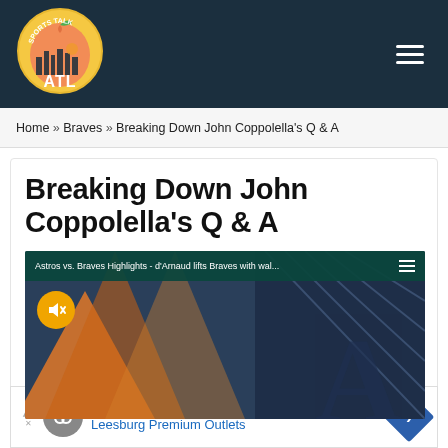[Figure (logo): Sports Talk ATL logo — peach with cityscape and ATL text, circular badge style on dark navy header]
Home » Braves » Breaking Down John Coppolella's Q & A
Breaking Down John Coppolella's Q & A
[Figure (screenshot): Video thumbnail showing 'Astros vs. Braves Highlights - d'Arnaud lifts Braves with wal...' with geometric orange and blue background, mute button visible, teal header bar with hamburger menu]
[Figure (other): Advertisement banner: Save Up to 65% Leesburg Premium Outlets with grey circular logo and blue diamond arrow icon]